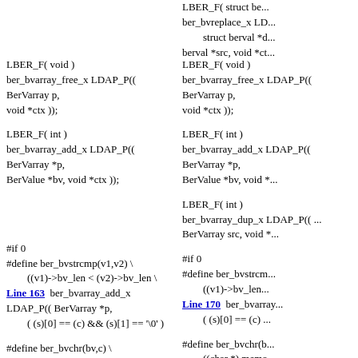LBER_F( struct be... ber_bvreplace_x LDAP_P(( struct berval *d... berval *src, void *ct...
LBER_F( void )
ber_bvarray_free_x LDAP_P(( BerVarray p, void *ctx ));
LBER_F( void )
ber_bvarray_free_x LDAP_P(( BerVarray p, void *ctx ));
LBER_F( int )
ber_bvarray_add_x LDAP_P(( BerVarray *p, BerValue *bv, void *ctx ));
LBER_F( int )
ber_bvarray_add_x LDAP_P(( BerVarray *p, BerValue *bv, void *ctx ));
LBER_F( int )
ber_bvarray_dup_x LDAP_P(( BerVarray src, void *...
#if 0
#define ber_bvstrcmp(v1,v2) \
        ((v1)->bv_len < (v2)->bv_len \
Line 163  ber_bvarray_add_x LDAP_P(( BerVarray *p,
        ( (s)[0] == (c) && (s)[1] == '\0' )
#if 0
#define ber_bvstrcmp...
        ((v1)->bv_len...
Line 170  ber_bvarray...
        ( (s)[0] == (c)...
#define ber_bvchr(bv,c) \
        memchr( (bv)->bv_val, (c), (bv)->bv_len
)
#define ber_bvchr(b...
        ((char *) memo...
->bv_len ))